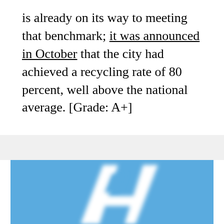is already on its way to meeting that benchmark; it was announced in October that the city had achieved a recycling rate of 80 percent, well above the national average. [Grade: A+]
[Figure (illustration): Blue background with a large white letter A, representing a grade of A+]